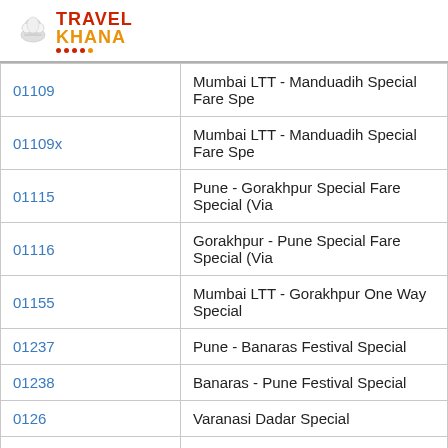[Figure (logo): Travel Khana logo with chef hat icon and red/orange text]
| 01109 | Mumbai LTT - Manduadih Special Fare Spe… |
| 01109x | Mumbai LTT - Manduadih Special Fare Spe… |
| 01115 | Pune - Gorakhpur Special Fare Special (Via… |
| 01116 | Gorakhpur - Pune Special Fare Special (Via… |
| 01155 | Mumbai LTT - Gorakhpur One Way Special… |
| 01237 | Pune - Banaras Festival Special |
| 01238 | Banaras - Pune Festival Special |
| 0126 | Varanasi Dadar Special |
| 01309 | Nasik Road - Darbhanga Kumbh Mela Spec… |
| 01309K | Nasik Road - Darbhanga Kumbh Mela Spec… |